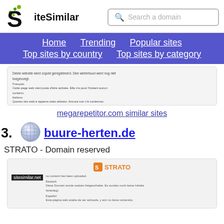[Figure (logo): SiteSimilar logo with green dots and bold S letter]
Search a domain
Home  Trending  Popular sites  Top sites by country  Top sites by category
[Figure (screenshot): Screenshot of megarepetitor.com showing multilingual domain registration message]
megarepetitor.com similar sites
43.
[Figure (illustration): Globe icon for buure-herten.de]
buure-herten.de
STRATO - Domain reserved
[Figure (screenshot): Screenshot of buure-herten.de showing STRATO logo and domain reserved page with sitesimilar.net watermark]